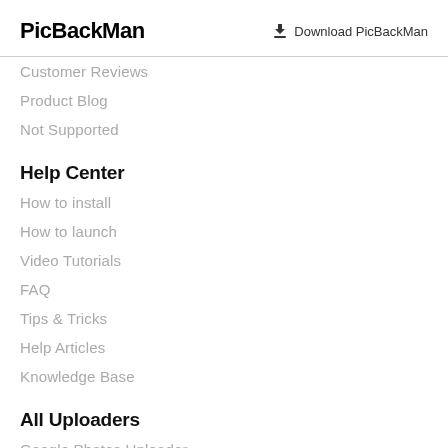PicBackMan
Download PicBackMan
Customer Reviews
Product Blog
Not Supported
Help Center
How to install
How to launch
Video Tutorials
FAQ
Tips & Tricks
Help Articles
Knowledge Base
All Uploaders
Google Photos Uploader
Flickr Uploader